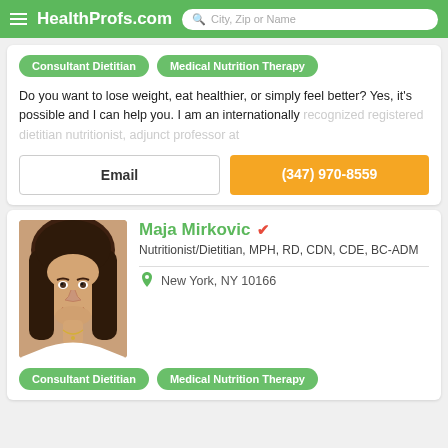HealthProfs.com | City, Zip or Name
Consultant Dietitian
Medical Nutrition Therapy
Do you want to lose weight, eat healthier, or simply feel better? Yes, it's possible and I can help you. I am an internationally recognized registered dietitian nutritionist, adjunct professor at
Email
(347) 970-8559
Maja Mirkovic
Nutritionist/Dietitian, MPH, RD, CDN, CDE, BC-ADM
New York, NY 10166
Consultant Dietitian
Medical Nutrition Therapy